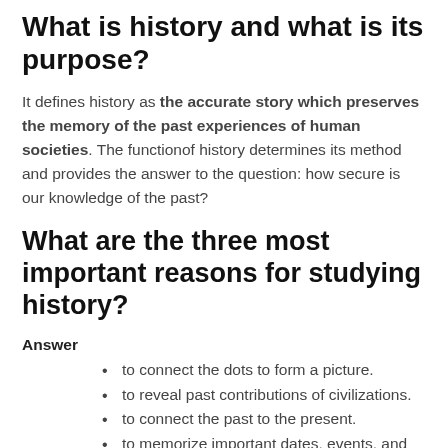What is history and what is its purpose?
It defines history as the accurate story which preserves the memory of the past experiences of human societies. The functionof history determines its method and provides the answer to the question: how secure is our knowledge of the past?
What are the three most important reasons for studying history?
Answer
to connect the dots to form a picture.
to reveal past contributions of civilizations.
to connect the past to the present.
to memorize important dates, events, and